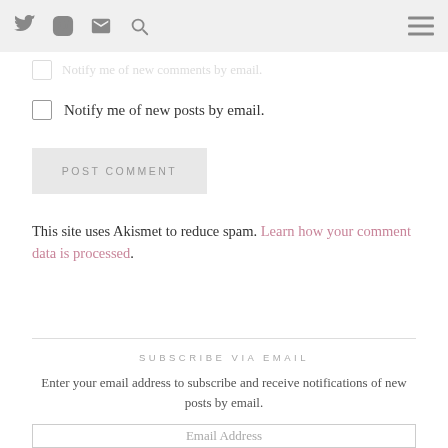Twitter Instagram Email Search [hamburger menu]
Notify me of new posts by email.
POST COMMENT
This site uses Akismet to reduce spam. Learn how your comment data is processed.
SUBSCRIBE VIA EMAIL
Enter your email address to subscribe and receive notifications of new posts by email.
Email Address